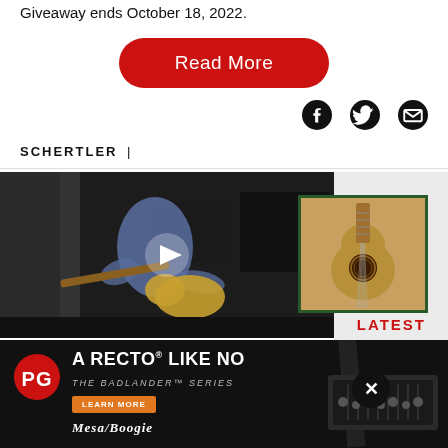Giveaway ends October 18, 2022.
Read More
[Figure (other): Social share icons: Facebook, Twitter, Email]
SCHERTLER |
[Figure (photo): Video thumbnail showing a person playing electric guitar in a studio with amplifiers. A play button is overlaid in the center.]
[Figure (photo): Thumbnail image of an acoustic guitar body/soundhole with a green border frame.]
LATEST
[Figure (other): Advertisement banner: PG logo, A RECTO LIKE NO OTHER, THE BADLANDER SERIES, LEARN MORE button, MESA/BOOGIE logo, image of amplifier head with guitar.]